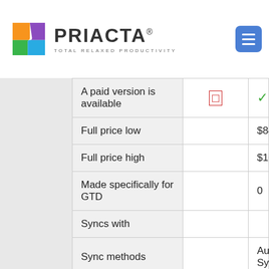PRIACTA® TOTAL RELAXED PRODUCTIVITY
| Feature | Col2 | Col3 |
| --- | --- | --- |
| A paid version is available | □ | ✓ |
| Full price low |  | $84 |
| Full price high |  | $168 |
| Made specifically for GTD |  | 0 |
| Syncs with |  |  |
| Sync methods |  | Automatic Sync |